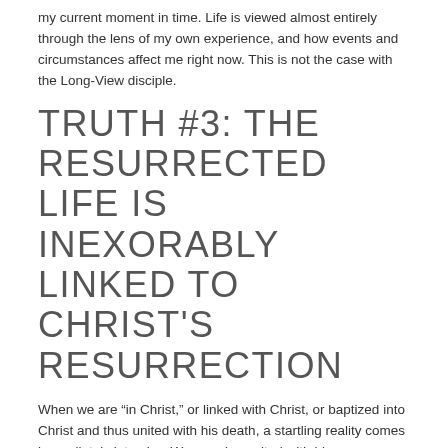my current moment in time. Life is viewed almost entirely through the lens of my own experience, and how events and circumstances affect me right now. This is not the case with the Long-View disciple.
TRUTH #3: THE RESURRECTED LIFE IS INEXORABLY LINKED TO CHRIST'S RESURRECTION
When we are “in Christ,” or linked with Christ, or baptized into Christ and thus united with his death, a startling reality comes immediately into play. We are also united with his resurrection.
If we have been united with him in his death, we will certainly also be united with him in his resurrection. – Romans 6:5, NIV-1973